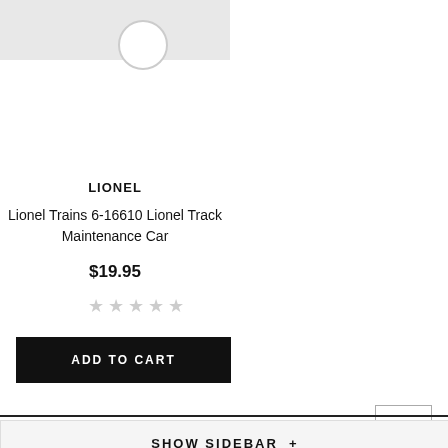[Figure (photo): Product image area with loading/spinner circle indicator, gray top bar]
LIONEL
Lionel Trains 6-16610 Lionel Track Maintenance Car
$19.95
[Figure (other): Five empty star rating indicators (grey/unfilled)]
ADD TO CART
SHOW SIDEBAR +